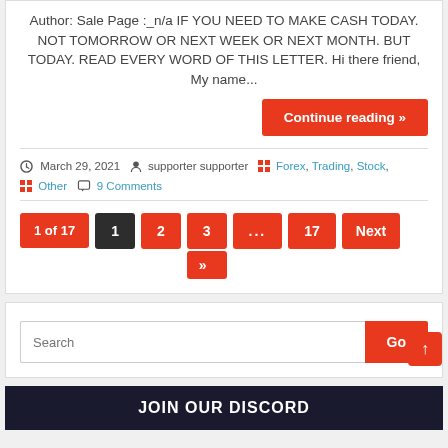Author: Sale Page :_n/a IF YOU NEED TO MAKE CASH TODAY. NOT TOMORROW OR NEXT WEEK OR NEXT MONTH. BUT TODAY. READ EVERY WORD OF THIS LETTER. Hi there friend, My name...
Continue reading »
March 29, 2021  supporter supporter  Forex, Trading, Stock,  Other  9 Comments
1 of 17  1  2  3  ...  17  Next  »
Search  Go
JOIN OUR DISCORD